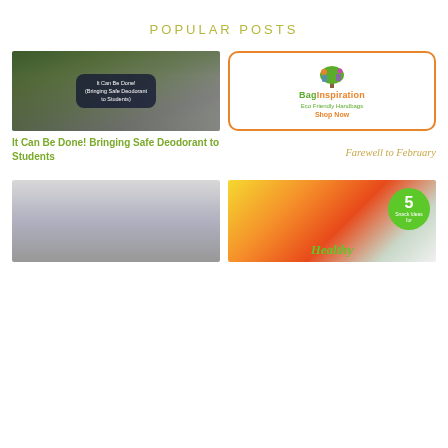POPULAR POSTS
[Figure (photo): Soccer players on field with overlay text reading: It Can Be Done! (Bringing Safe Deodorant to Students)]
[Figure (logo): BagInspiration logo with tree graphic, text: BagInspiration Eco Friendly Handbags Shop Now, orange border]
It Can Be Done! Bringing Safe Deodorant to Students
Farewell to February
[Figure (photo): Partially visible photo, lower portion of page left column]
[Figure (infographic): 5 Snack Ideas for Healthy... with fruit image and green circular badge, partially visible]